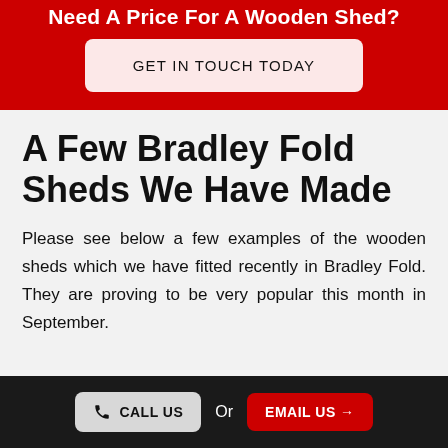Need A Price For A Wooden Shed?
GET IN TOUCH TODAY
A Few Bradley Fold Sheds We Have Made
Please see below a few examples of the wooden sheds which we have fitted recently in Bradley Fold. They are proving to be very popular this month in September.
Use the enquiry form below or call us on 01942 316356
CALL US   Or   EMAIL US →